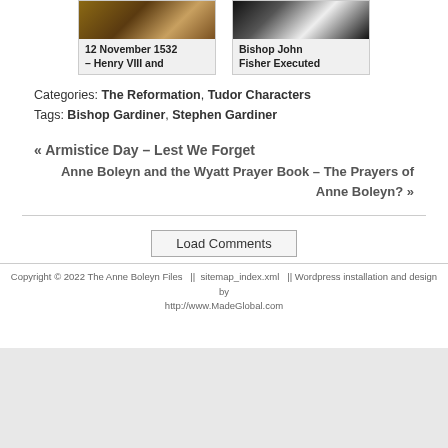[Figure (photo): Two historical portrait images in cards: '12 November 1532 – Henry VIII and' and 'Bishop John Fisher Executed']
Categories: The Reformation, Tudor Characters
Tags: Bishop Gardiner, Stephen Gardiner
« Armistice Day – Lest We Forget
Anne Boleyn and the Wyatt Prayer Book – The Prayers of Anne Boleyn? »
Load Comments
Copyright © 2022 The Anne Boleyn Files  ||  sitemap_index.xml  || Wordpress installation and design by http://www.MadeGlobal.com